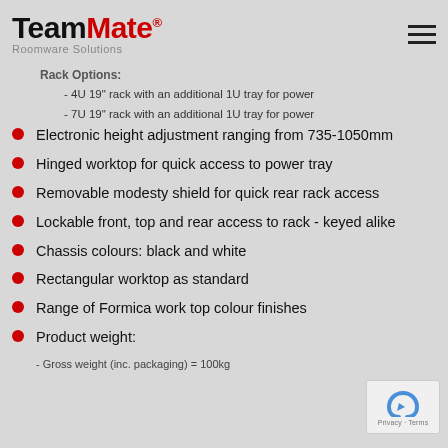TeamMate® Roomware Solutions
Rack Options:
- 4U 19" rack with an additional 1U tray for power
- 7U 19" rack with an additional 1U tray for power
Electronic height adjustment ranging from 735-1050mm
Hinged worktop for quick access to power tray
Removable modesty shield for quick rear rack access
Lockable front, top and rear access to rack - keyed alike
Chassis colours: black and white
Rectangular worktop as standard
Range of Formica work top colour finishes
Product weight:
- Gross weight (inc. packaging) = 100kg